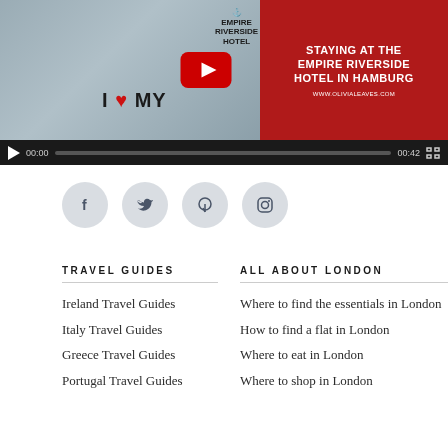[Figure (screenshot): Video thumbnail showing slippers with 'I ♥ MY' text and Empire Riverside Hotel logo, with YouTube play button overlay. Red overlay panel reads 'STAYING AT THE EMPIRE RIVERSIDE HOTEL IN HAMBURG' with URL www.olivialeaves.com. Video controls bar shows 00:00 / 00:42.]
[Figure (infographic): Row of four social media icon circles (Facebook, Twitter, Pinterest, Instagram) in light grey circular buttons.]
TRAVEL GUIDES
Ireland Travel Guides
Italy Travel Guides
Greece Travel Guides
Portugal Travel Guides
ALL ABOUT LONDON
Where to find the essentials in London
How to find a flat in London
Where to eat in London
Where to shop in London